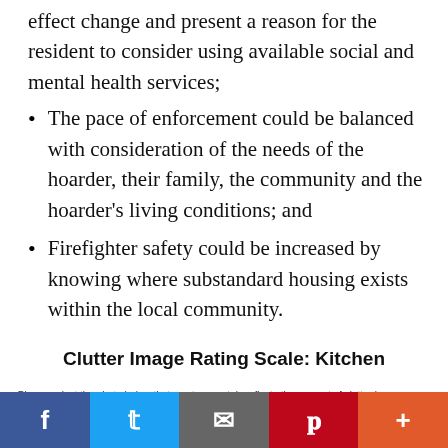effect change and present a reason for the resident to consider using available social and mental health services;
The pace of enforcement could be balanced with consideration of the needs of the hoarder, their family, the community and the hoarder's living conditions; and
Firefighter safety could be increased by knowing where substandard housing exists within the local community.
Clutter Image Rating Scale: Kitchen
Please select the photo below that most accurately reflects the amount of clutter in your room